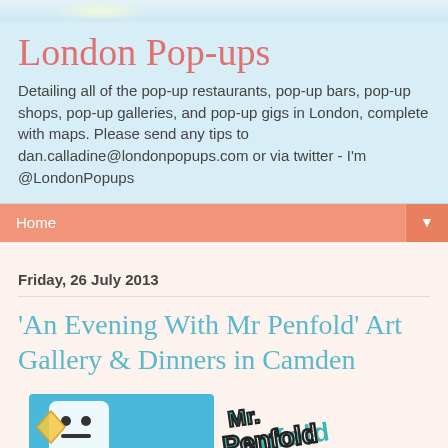London Pop-ups
Detailing all of the pop-up restaurants, pop-up bars, pop-up shops, pop-up galleries, and pop-up gigs in London, complete with maps. Please send any tips to dan.calladine@londonpopups.com or via twitter - I'm @LondonPopups
Home
Friday, 26 July 2013
'An Evening With Mr Penfold' Art Gallery & Dinners in Camden
[Figure (illustration): Mr Penfold art logo - cartoon character on blue background on left, stylized 'Penfold' graffiti text logo on right]